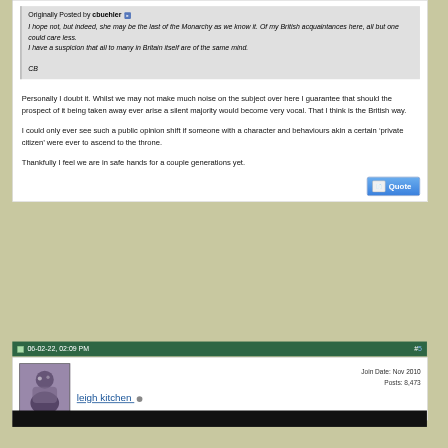Originally Posted by cbuehler
I hope not, but indeed, she may be the last of the Monarchy as we know it. Of my British acquaintances here, all but one could care less.
I have a suspicion that all to many in Britain itself are of the same mind.

CB
Personally I doubt it. Whilst we may not make much noise on the subject over here I guarantee that should the prospect of it being taken away ever arise a silent majority would become very vocal. That I think is the British way.

I could only ever see such a public opinion shift if someone with a character and behaviours akin a certain ‘private citizen’ were ever to ascend to the throne.

Thankfully I feel we are in safe hands for a couple generations yet.
06-02-22, 02:09 PM    #5
Join Date: Nov 2010
Posts: 8,473
leigh kitchen